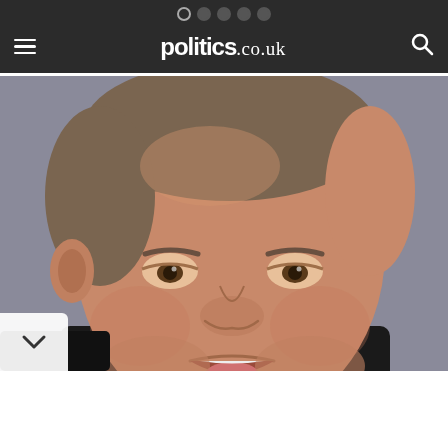politics.co.uk
[Figure (photo): Close-up photograph of a middle-aged man with grey-brown hair, open mouth, wearing a dark jacket, against a grey background. Appears to be a politician.]